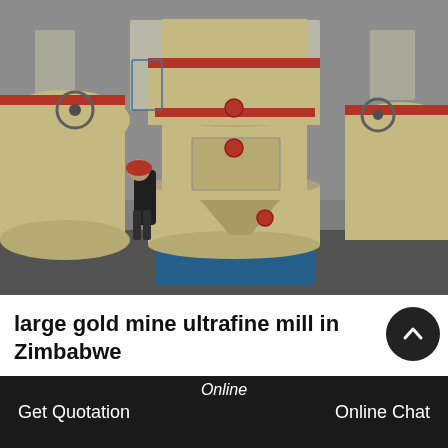[Figure (photo): Large industrial ultrafine mill machine (cream/beige colored, cylindrical with red trim) inside a factory/warehouse. A person stands beside it for scale. Several similar machines visible in background.]
large gold mine ultrafine mill in Zimbabwe
According to the report, Zimbabwe platinum producer has regarded Engels's area
Online   Get Quotation   Online Chat